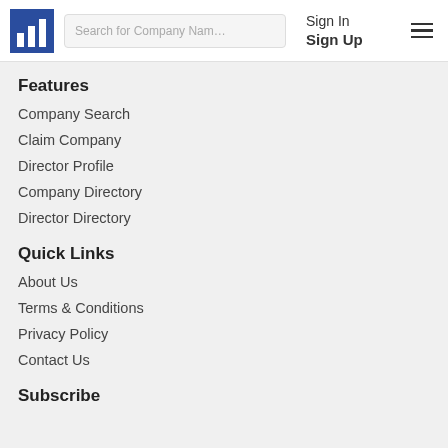Search for Company Name | Sign In | Sign Up
Features
Company Search
Claim Company
Director Profile
Company Directory
Director Directory
Quick Links
About Us
Terms & Conditions
Privacy Policy
Contact Us
Subscribe